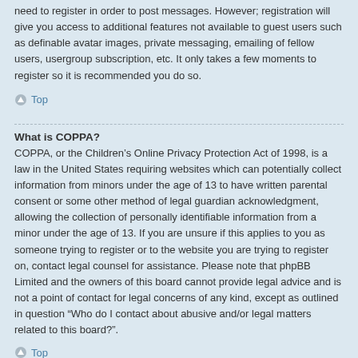need to register in order to post messages. However; registration will give you access to additional features not available to guest users such as definable avatar images, private messaging, emailing of fellow users, usergroup subscription, etc. It only takes a few moments to register so it is recommended you do so.
Top
What is COPPA?
COPPA, or the Children’s Online Privacy Protection Act of 1998, is a law in the United States requiring websites which can potentially collect information from minors under the age of 13 to have written parental consent or some other method of legal guardian acknowledgment, allowing the collection of personally identifiable information from a minor under the age of 13. If you are unsure if this applies to you as someone trying to register or to the website you are trying to register on, contact legal counsel for assistance. Please note that phpBB Limited and the owners of this board cannot provide legal advice and is not a point of contact for legal concerns of any kind, except as outlined in question “Who do I contact about abusive and/or legal matters related to this board?”.
Top
Why can't I register?
It is possible a board administrator has disabled registration to prevent new visitors from signing up. A board administrator could have also banned your IP address or disallowed the username you are attempting to register. Contact a